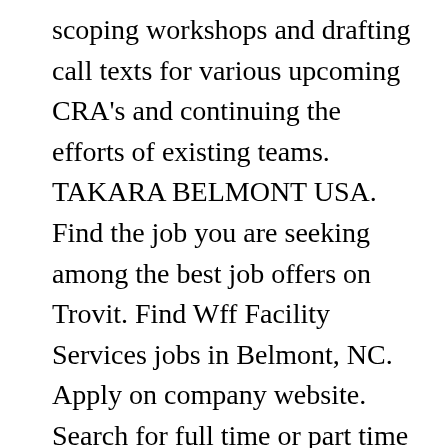scoping workshops and drafting call texts for various upcoming CRA's and continuing the efforts of existing teams. TAKARA BELMONT USA. Find the job you are seeking among the best job offers on Trovit. Find Wff Facility Services jobs in Belmont, NC. Apply on company website. Search for full time or part time employment opportunities on Jobs2Careers. Competitive salary. Professionalism. Verified employers. HR Coordinator Vallen USA Belmont, NC 3 minutes ago 85 applicants. Find Administrative Coordinator jobs in Belmont, NH. Greater New York City Area. Client Service Coordinator. Free, fast and easy way find a job of 1.477.000+